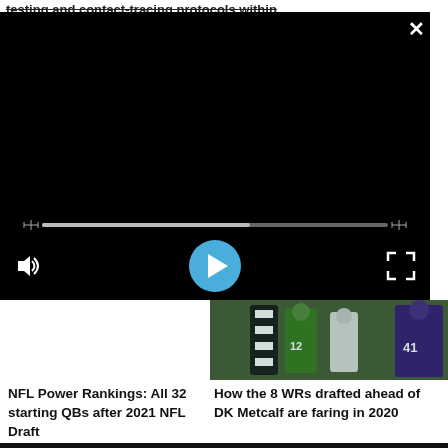testing and contact-tracing protocols within
[Figure (screenshot): Video player overlay with black background, progress bar, play button, volume icon, and fullscreen icon on a dark background. Close (X) button in top right.]
[Figure (photo): NFL football game photo showing players including a referee in black and white stripes, a Seattle Seahawks player in green, and a player in purple jersey number 41.]
NFL Power Rankings: All 32 starting QBs after 2021 NFL Draft
How the 8 WRs drafted ahead of DK Metcalf are faring in 2020